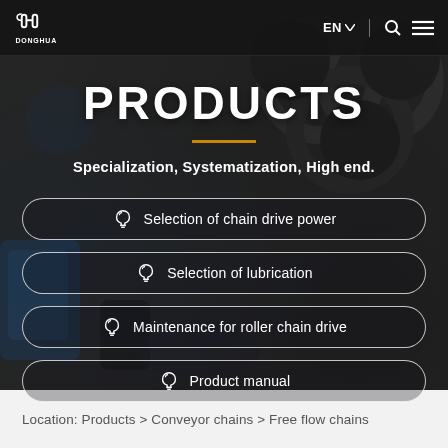[Figure (screenshot): Donghua chain products page header with dark background showing chain/gear components, logo top-left, EN language selector and search/menu icons top-right]
PRODUCTS
Specialization, Systematization, High end.
Selection of chain drive power
Selection of lubrication
Maintenance for roller chain drive
Product manual
Location: Products > Conveyor chains > Free flow chains